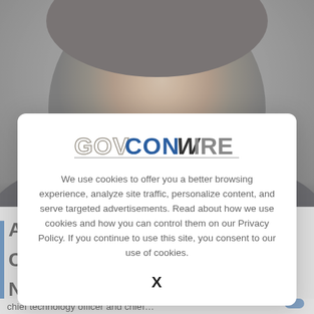[Figure (photo): Professional headshot of a man in a dark suit with white shirt, against a grey background, smiling slightly at the camera.]
We use cookies to offer you a better browsing experience, analyze site traffic, personalize content, and serve targeted advertisements. Read about how we use cookies and how you can control them on our Privacy Policy. If you continue to use this site, you consent to our use of cookies.
X
chief technology officer and chief…